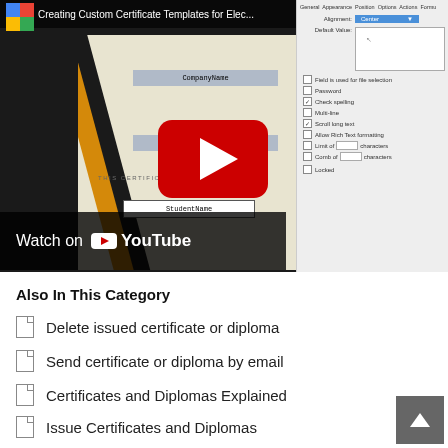[Figure (screenshot): YouTube video thumbnail showing a PDF certificate editor with form fields (CompanyName, CourseName, StudentName) and a properties panel on the right with alignment, default value, and checkbox options. A YouTube play button overlay is centered on the left portion. Title bar reads 'Creating Custom Certificate Templates for Elec...' A 'Watch on YouTube' bar appears at the bottom left of the video.]
Also In This Category
Delete issued certificate or diploma
Send certificate or diploma by email
Certificates and Diplomas Explained
Issue Certificates and Diplomas